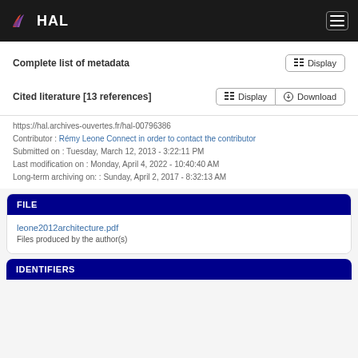HAL
Complete list of metadata
Cited literature [13 references]
https://hal.archives-ouvertes.fr/hal-00796386
Contributor : Rémy Leone Connect in order to contact the contributor
Submitted on : Tuesday, March 12, 2013 - 3:22:11 PM
Last modification on : Monday, April 4, 2022 - 10:40:40 AM
Long-term archiving on: : Sunday, April 2, 2017 - 8:32:13 AM
FILE
leone2012architecture.pdf
Files produced by the author(s)
IDENTIFIERS